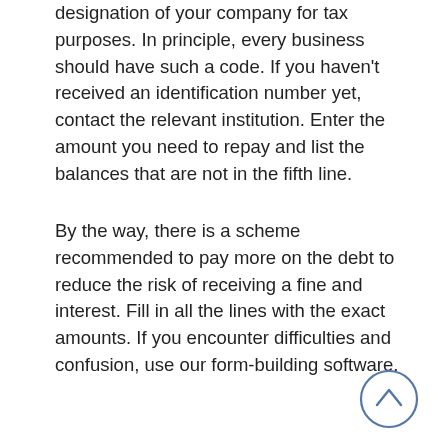designation of your company for tax purposes. In principle, every business should have such a code. If you haven't received an identification number yet, contact the relevant institution. Enter the amount you need to repay and list the balances that are not in the fifth line.
By the way, there is a scheme recommended to pay more on the debt to reduce the risk of receiving a fine and interest. Fill in all the lines with the exact amounts. If you encounter difficulties and confusion, use our form-building software.
[Figure (other): A circular scroll-to-top button with an upward-pointing chevron arrow, rendered in a blue outline style.]